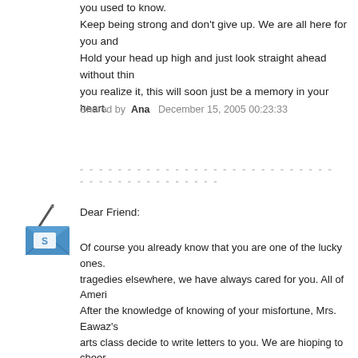you used to know. Keep being strong and don't give up. We are all here for you and Hold your head up high and just look straight ahead without thin you realize it, this will soon just be a memory in your heart.
Shared by Ana December 15, 2005 00:23:33
- - - - - - - - - - - - - - - - - - - - - - - - - - - - - - - - - - - - - - - - - -
[Figure (illustration): Blue envelope icon with a white letter/S symbol and a pen/pencil above it]
Dear Friend:
Of course you already know that you are one of the lucky ones. tragedies elsewhere, we have always cared for you. All of Ameri After the knowledge of knowing of your misfortune, Mrs. Eawaz's arts class decide to write letters to you. We are hioping to cheer know that after all of htese months, someone still cares. In fact, churches, and many schools have all donated money and suppl Almost a week before the hurricane came, we were praying it we Unfortunately, that miracle that we were anticipating on never ca have a guardian angel watching over you, who has helped you t What ever the rumor is about FEMA, they still are trying right no you. It might be taking a while because other people have also l you're next in line for FEMA's help.